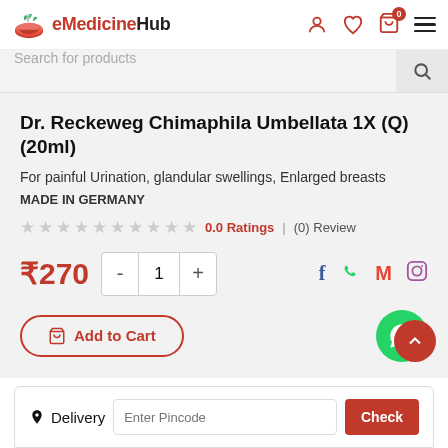eMedicineHub
Search for products
Dr. Reckeweg Chimaphila Umbellata 1X (Q) (20ml)
For painful Urination, glandular swellings, Enlarged breasts
MADE IN GERMANY
0.0 Ratings | (0) Review
₹270
Add to Cart
Delivery  Enter Pincode  Check